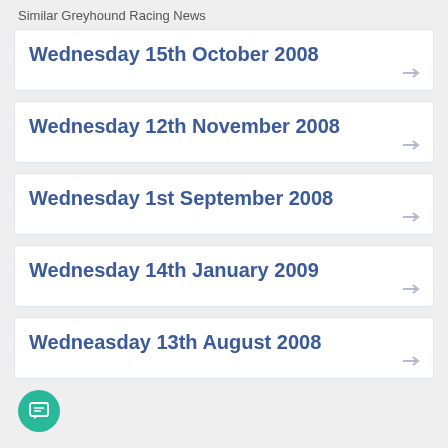Similar Greyhound Racing News
Wednesday 15th October 2008
Wednesday 12th November 2008
Wednesday 1st September 2008
Wednesday 14th January 2009
Wedneasday 13th August 2008